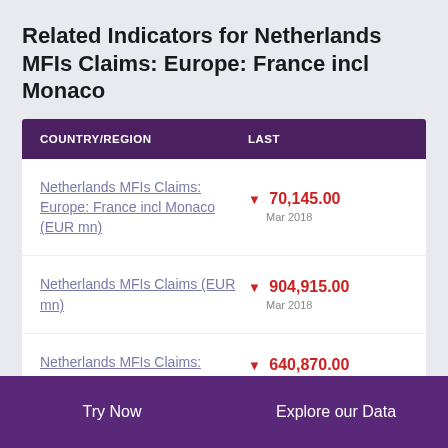Related Indicators for Netherlands MFIs Claims: Europe: France incl Monaco
| COUNTRY/REGION | LAST |
| --- | --- |
| Netherlands MFIs Claims: Europe: France incl Monaco (EUR mn) | ▼ 70,145.00
Mar 2018 |
| Netherlands MFIs Claims (EUR mn) | ▼ 904,915.00
Mar 2018 |
| Netherlands MFIs Claims: Europe (EUR mn) | ▼ 640,870.00
Mar 2018 |
Try Now    Explore our Data